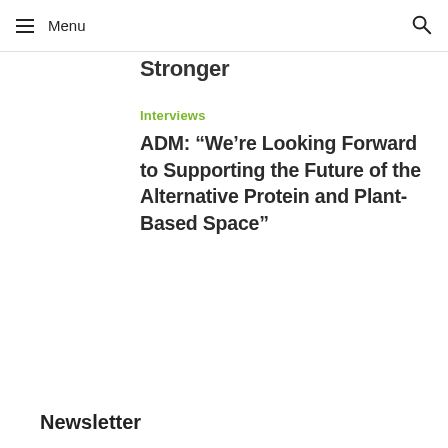≡ Menu 🔍
Stronger
Interviews
ADM: “We’re Looking Forward to Supporting the Future of the Alternative Protein and Plant-Based Space”
Newsletter